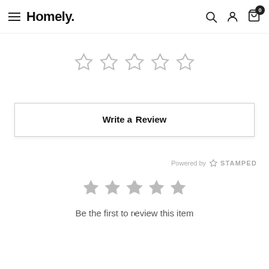Homely.
[Figure (other): Five empty/outline stars for rating]
Write a Review
Powered by STAMPED
[Figure (other): Five filled grey stars]
Be the first to review this item